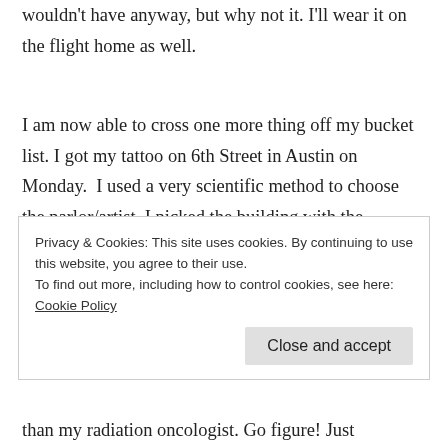wouldn't have anyway, but why not it. I'll wear it on the flight home as well.
I am now able to cross one more thing off my bucket list. I got my tattoo on 6th Street in Austin on Monday.  I used a very scientific method to choose the parlor/artist. I picked the building with the friendliest looking storefront. It was amazingly clean and bright.  I'm not sure what I expected but I felt like the whole process was more sterile than my medical treatment at
Privacy & Cookies: This site uses cookies. By continuing to use this website, you agree to their use.
To find out more, including how to control cookies, see here: Cookie Policy
than my radiation oncologist. Go figure! Just